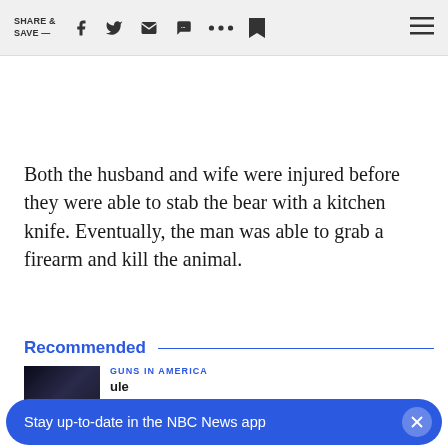SHARE & SAVE —
Both the husband and wife were injured before they were able to stab the bear with a kitchen knife. Eventually, the man was able to grab a firearm and kill the animal.
Recommended
GUNS IN AMERICA
takes effect
Stay up-to-date in the NBC News app